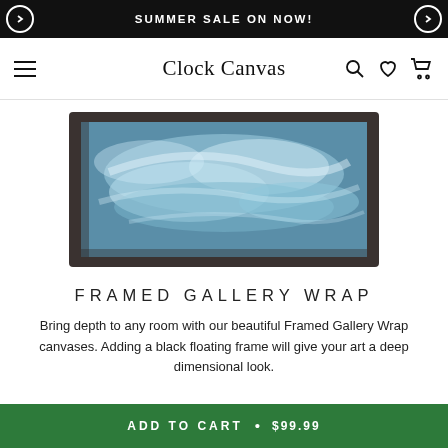SUMMER SALE ON NOW!
Clock Canvas
[Figure (photo): A framed canvas wall art piece with a dark floating frame, showing an abstract blue-teal ocean/wave pattern. The frame is dark brown/black and the image has a deep dimensional appearance.]
FRAMED GALLERY WRAP
Bring depth to any room with our beautiful Framed Gallery Wrap canvases. Adding a black floating frame will give your art a deep dimensional look.
Our Framed Gallery Wraps are hand crafted in Italy and
ADD TO CART • $99.99